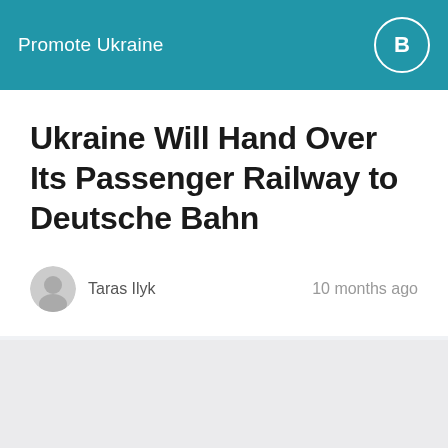Promote Ukraine
Ukraine Will Hand Over Its Passenger Railway to Deutsche Bahn
Taras Ilyk   10 months ago